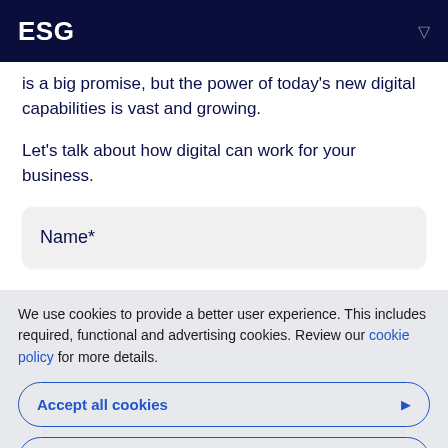ESG
is a big promise, but the power of today's new digital capabilities is vast and growing.
Let's talk about how digital can work for your business.
Name*
We use cookies to provide a better user experience. This includes required, functional and advertising cookies. Review our cookie policy for more details.
Accept all cookies
Customized settings
Contact Number*